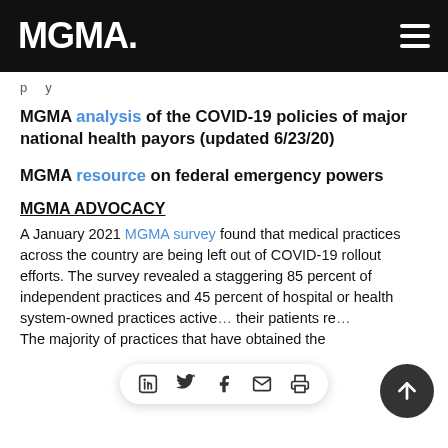MGMA
p y
MGMA analysis of the COVID-19 policies of major national health payors (updated 6/23/20)
MGMA resource on federal emergency powers
MGMA ADVOCACY
A January 2021 MGMA survey found that medical practices across the country are being left out of COVID-19 rollout efforts. The survey revealed a staggering 85 percent of independent practices and 45 percent of hospital or health system-owned practices actively... their patients re... The majority of practices that have obtained the...